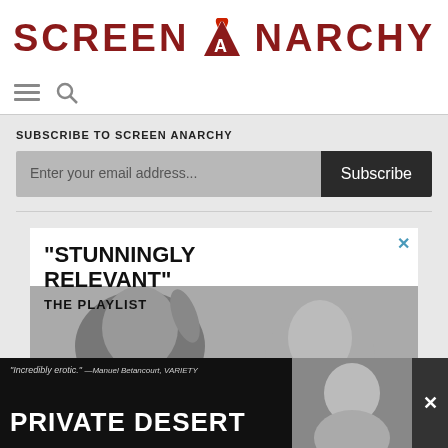SCREENANARCHY
[Figure (screenshot): Navigation icons: hamburger menu and search magnifying glass]
SUBSCRIBE TO SCREEN ANARCHY
[Figure (screenshot): Email subscription form with input field 'Enter your email address...' and Subscribe button]
[Figure (advertisement): Ad banner reading '"STUNNINGLY RELEVANT" THE PLAYLIST' with black and white photo of people, close button X]
[Figure (advertisement): Bottom ad banner: '"Incredibly erotic." —Manuel Betancourt, VARIETY' with text 'PRIVATE DESERT' in white, woman photo, close buttons]